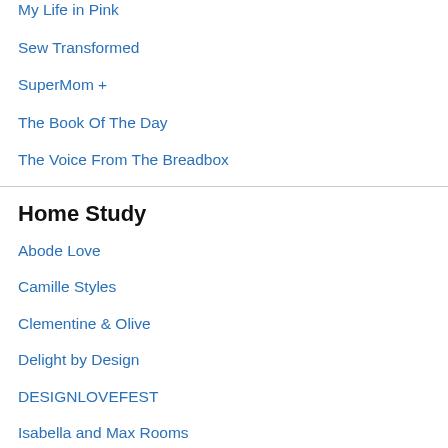My Life in Pink
Sew Transformed
SuperMom +
The Book Of The Day
The Voice From The Breadbox
Home Study
Abode Love
Camille Styles
Clementine & Olive
Delight by Design
DESIGNLOVEFEST
Isabella and Max Rooms
Little Green Notebook
My Vibe, My Life
SpaceSays
Sweet Suite 10